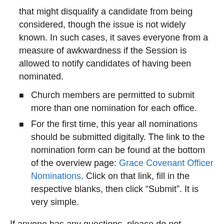that might disqualify a candidate from being considered, though the issue is not widely known. In such cases, it saves everyone from a measure of awkwardness if the Session is allowed to notify candidates of having been nominated.
Church members are permitted to submit more than one nomination for each office.
For the first time, this year all nominations should be submitted digitally. The link to the nomination form can be found at the bottom of the overview page: Grace Covenant Officer Nominations. Click on that link, fill in the respective blanks, then click “Submit”. It is very simple.
If anyone has any questions, please do not hesitate to ask us. We want to make this as simple as possible, but it is quite possible that we have failed to anticipate...